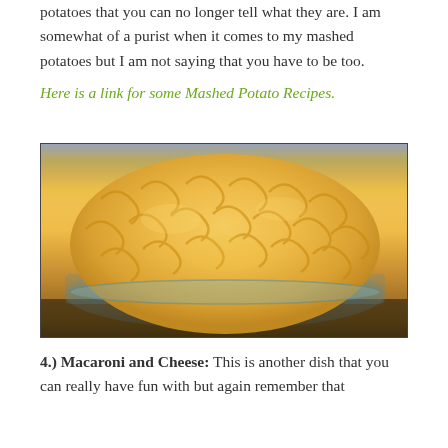potatoes that you can no longer tell what they are. I am somewhat of a purist when it comes to my mashed potatoes but I am not saying that you have to be too.
Here is a link for some Mashed Potato Recipes.
[Figure (photo): A glass bowl filled with creamy macaroni and cheese, close-up photo on a dark counter background.]
4.)  Macaroni and Cheese:  This is another dish that you can really have fun with but again remember that